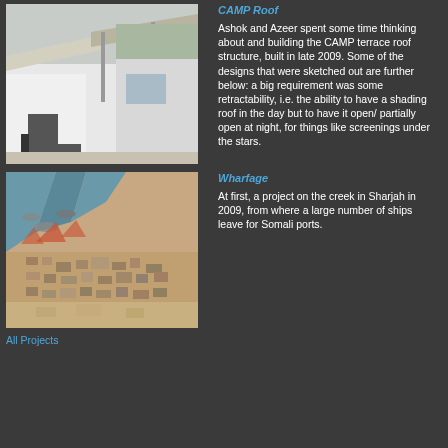[Figure (photo): Exterior view of CAMP terrace roof structure with white panels and shade canopies]
CAMP Roof
Ashok and Azeer spent some time thinking about and building the CAMP terrace roof structure, built in late 2009. Some of the designs that were sketched out are further below: a big requirement was some retractability, i.e. the ability to have a shading roof in the day but to have it open/ partially open at night, for things like screenings under the stars.
[Figure (photo): Satellite aerial view of Sharjah creek area with ships and coastal city]
Wharfage
At first, a project on the creek in Sharjah in 2009, from where a large number of ships leave for Somali ports.
All Projects